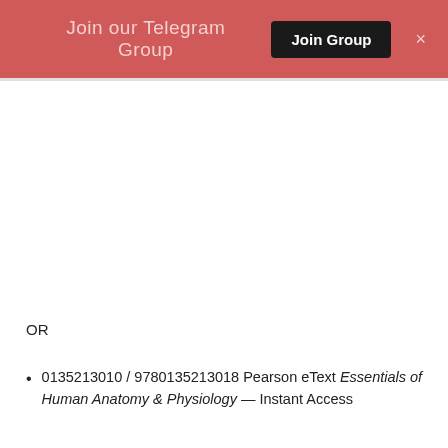Join our Telegram Group  Join Group  ×
OR
0135213010 / 9780135213018 Pearson eText Essentials of Human Anatomy & Physiology — Instant Access
Mastering A&P and Pearson eText should only be purchased when required by an instructor.